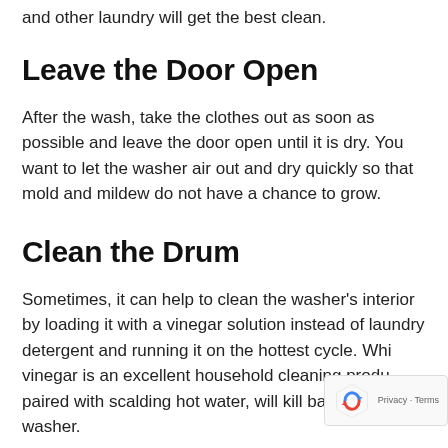and other laundry will get the best clean.
Leave the Door Open
After the wash, take the clothes out as soon as possible and leave the door open until it is dry. You want to let the washer air out and dry quickly so that mold and mildew do not have a chance to grow.
Clean the Drum
Sometimes, it can help to clean the washer’s interior by loading it with a vinegar solution instead of laundry detergent and running it on the hottest cycle. Whi vinegar is an excellent household cleaning produ paired with scalding hot water, will kill bacteria in washer.